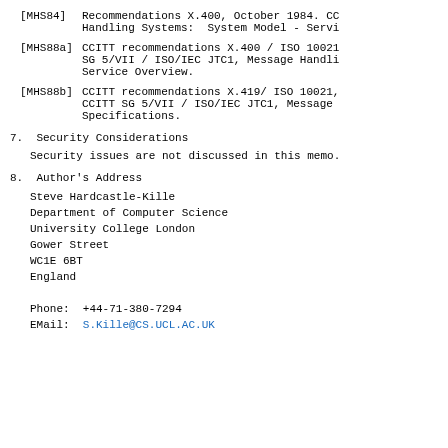[MHS84]  Recommendations X.400, October 1984. CC Handling Systems:  System Model - Servi
[MHS88a] CCITT recommendations X.400 / ISO 10021 SG 5/VII / ISO/IEC JTC1, Message Handli Service Overview.
[MHS88b] CCITT recommendations X.419/ ISO 10021, CCITT SG 5/VII / ISO/IEC JTC1, Message Specifications.
7.  Security Considerations
Security issues are not discussed in this memo.
8.  Author's Address
Steve Hardcastle-Kille
Department of Computer Science
University College London
Gower Street
WC1E 6BT
England

Phone:  +44-71-380-7294
EMail:  S.Kille@CS.UCL.AC.UK